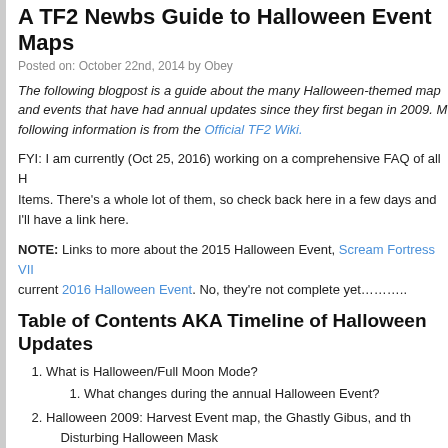A TF2 Newbs Guide to Halloween Event Maps
Posted on: October 22nd, 2014 by Obey
The following blogpost is a guide about the many Halloween-themed maps and events that have had annual updates since they first began in 2009. Most of the following information is from the Official TF2 Wiki.
FYI: I am currently (Oct 25, 2016) working on a comprehensive FAQ of all Halloween Items. There's a whole lot of them, so check back here in a few days and I'll have a link here.
NOTE: Links to more about the 2015 Halloween Event, Scream Fortress VII, and the current 2016 Halloween Event. No, they're not complete yet………..
Table of Contents AKA Timeline of Halloween Updates
What is Halloween/Full Moon Mode?
What changes during the annual Halloween Event?
Halloween 2009: Harvest Event map, the Ghastly Gibus, and the Disturbing Halloween Mask
Halloween 2010: Mann Manor map, the HHH, the Halloween class updates, and Haunted Scrap
Halloween 2011: ...